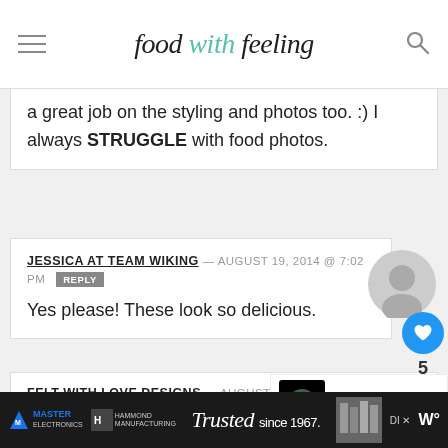food with feeling
a great job on the styling and photos too. :) I always STRUGGLE with food photos.
JESSICA AT TEAM WIKING — AUGUST 19, 2014 @ 7:02 PM  REPLY
Yes please! These look so delicious.
FELT WITH LOVE DESIGNS — AUGUST 19, 2014 @ 7:43 PM  REPLY